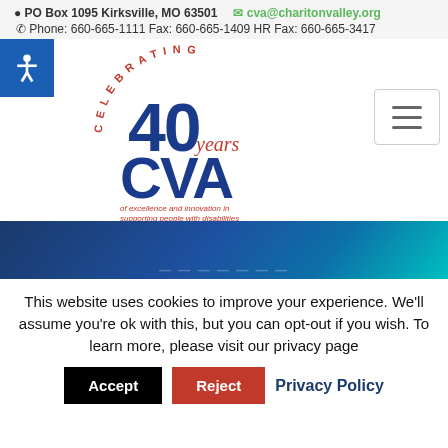PO Box 1095 Kirksville, MO 63501  cva@charitonvalley.org  Phone: 660-665-1111 Fax: 660-665-1409 HR Fax: 660-665-3417
[Figure (logo): CVA Celebrating 40 Years logo with text 'of excellence and innovation in supporting people with disabilities']
[Figure (illustration): Blue gradient banner with partial text at bottom]
This website uses cookies to improve your experience. We'll assume you're ok with this, but you can opt-out if you wish. To learn more, please visit our privacy page
Accept  Reject  Privacy Policy